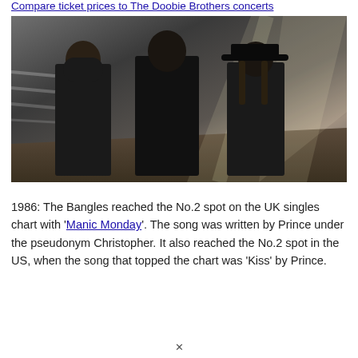Compare ticket prices to The Doobie Brothers concerts
[Figure (photo): Photo of three members of The Doobie Brothers standing in a dimly lit industrial space with light rays behind them, all dressed in dark clothing.]
1986: The Bangles reached the No.2 spot on the UK singles chart with 'Manic Monday'. The song was written by Prince under the pseudonym Christopher. It also reached the No.2 spot in the US, when the song that topped the chart was 'Kiss' by Prince.